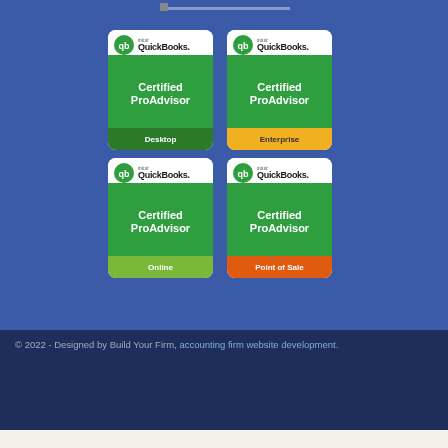[Figure (logo): Four QuickBooks Intuit Certified ProAdvisor badges arranged in a 2x2 grid: Desktop (dark green footer), Enterprise (yellow footer), Online (light green footer), Point of Sale (orange footer)]
© 2022 - Designed by Build Your Firm, accounting firm website development.